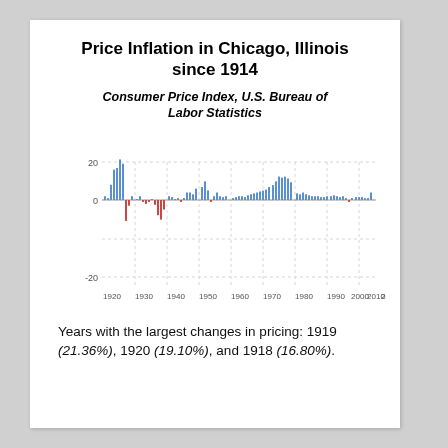Price Inflation in Chicago, Illinois since 1914
Consumer Price Index, U.S. Bureau of Labor Statistics
[Figure (bar-chart): Price Inflation in Chicago, Illinois since 1914]
Years with the largest changes in pricing: 1919 (21.36%), 1920 (19.10%), and 1918 (16.80%).